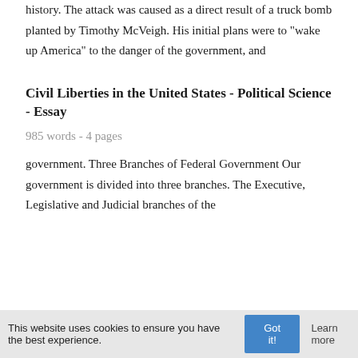history. The attack was caused as a direct result of a truck bomb planted by Timothy McVeigh. His initial plans were to "wake up America" to the danger of the government, and
Civil Liberties in the United States - Political Science - Essay
985 words - 4 pages
government. Three Branches of Federal Government Our government is divided into three branches. The Executive, Legislative and Judicial branches of the
This website uses cookies to ensure you have the best experience. Got it! Learn more